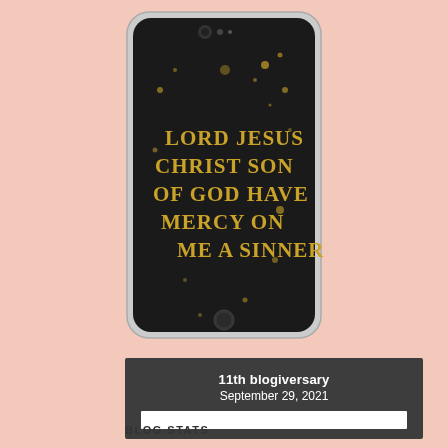[Figure (photo): Photo of a smartphone case with dark background and gold spatter paint pattern. The case displays decorative Gothic-style text reading: LORD JESUS CHRIST SON OF GOD HAVE MERCY ON ME A SINNER. The phone appears to be an iPhone in a clear case with the custom print.]
11th blogiversary
September 29, 2021
BLOG STATS